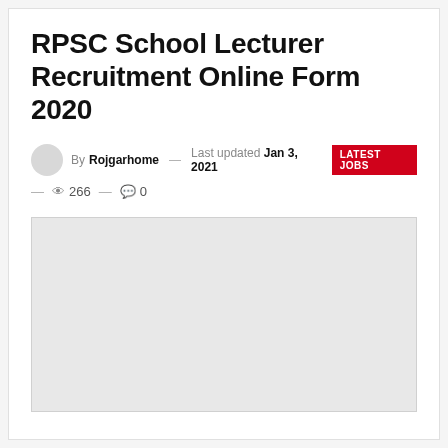RPSC School Lecturer Recruitment Online Form 2020
By Rojgarhome — Last updated Jan 3, 2021  LATEST JOBS
— 👁 266 — 💬 0
[Figure (other): Gray placeholder image block, no visible content]